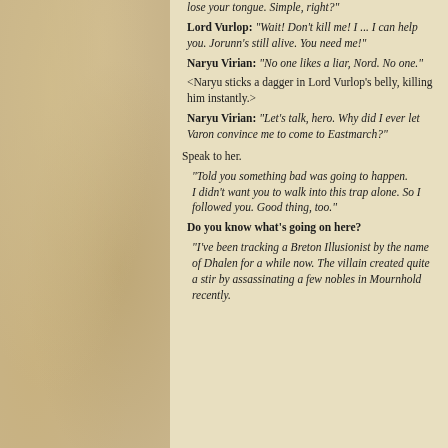lose your tongue. Simple, right?"
Lord Vurlop: "Wait! Don't kill me! I ... I can help you. Jorunn's still alive. You need me!"
Naryu Virian: "No one likes a liar, Nord. No one."
<Naryu sticks a dagger in Lord Vurlop's belly, killing him instantly.>
Naryu Virian: "Let's talk, hero. Why did I ever let Varon convince me to come to Eastmarch?"
Speak to her.
"Told you something bad was going to happen.
I didn't want you to walk into this trap alone. So I followed you. Good thing, too."
Do you know what's going on here?
"I've been tracking a Breton Illusionist by the name of Dhalen for a while now. The villain created quite a stir by assassinating a few nobles in Mournhold recently.